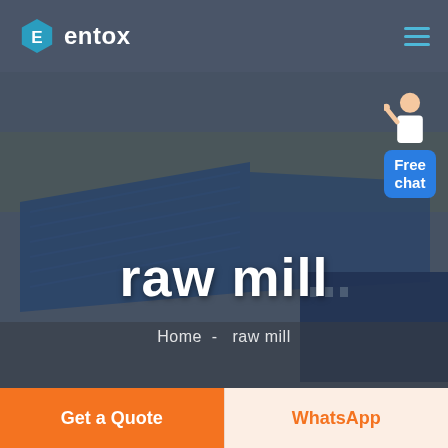entox
[Figure (photo): Aerial view of a large industrial facility with blue-roofed warehouse buildings, showing a manufacturing complex. Overlaid with a dark tint. A customer service chat widget appears in the top-right corner with 'Free chat' label.]
raw mill
Home - raw mill
Get a Quote
WhatsApp